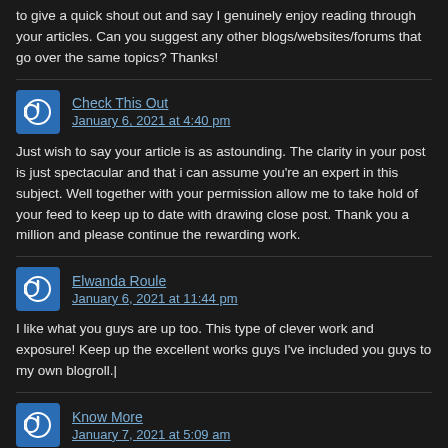to give a quick shout out and say I genuinely enjoy reading through your articles. Can you suggest any other blogs/websites/forums that go over the same topics? Thanks!
Check This Out
January 6, 2021 at 4:40 pm

Just wish to say your article is as astounding. The clarity in your post is just spectacular and that i can assume you're an expert in this subject. Well together with your permission allow me to take hold of your feed to keep up to date with drawing close post. Thank you a million and please continue the rewarding work.
Elwanda Roule
January 6, 2021 at 11:44 pm

I like what you guys are up too. This type of clever work and exposure! Keep up the excellent works guys I've included you guys to my own blogroll.|
Know More
January 7, 2021 at 5:09 am

Do you mind if I quote a couple of your posts as long as I provide credit and